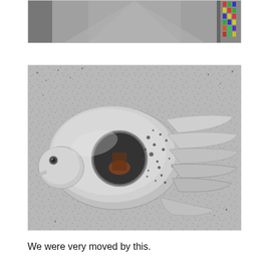[Figure (photo): Partial top photo showing a corridor or path viewed from above, with colorful decoration visible at the upper right.]
[Figure (photo): A silver metallic bird sculpture (dove/pigeon) photographed from above, resting on a grey speckled stone surface. The bird is stylized with a circular hole in its body revealing a small figure below, and layered wing segments extending to the right. The bird has a small eye and a rounded beak.]
We were very moved by this.